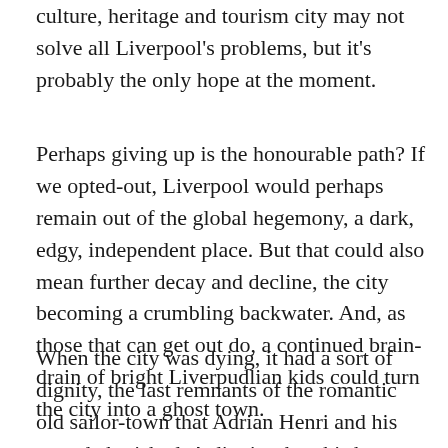culture, heritage and tourism city may not solve all Liverpool's problems, but it's probably the only hope at the moment.
Perhaps giving up is the honourable path? If we opted-out, Liverpool would perhaps remain out of the global hegemony, a dark, edgy, independent place. But that could also mean further decay and decline, the city becoming a crumbling backwater. And, as those that can get out do, a continued brain-drain of bright Liverpudlian kids could turn the city into a ghost town.
When the city was dying, it had a sort of dignity, the last remnants of the romantic old sailor-town that Adrian Henri and his crowd cherished. A dignity that this brave new city, brash, patchy, tacky, doesn't always have. But life and growth is imperfect. So there's the rub, would